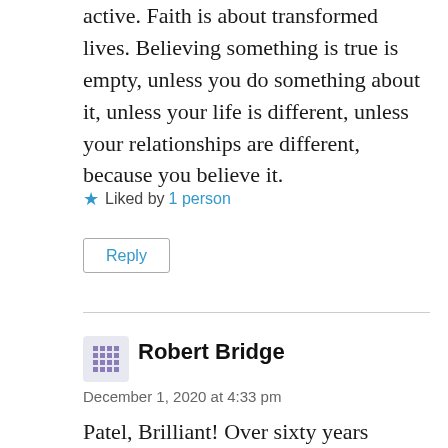active. Faith is about transformed lives. Believing something is true is empty, unless you do something about it, unless your life is different, unless your relationships are different, because you believe it.
Liked by 1 person
Reply
Robert Bridge
December 1, 2020 at 4:33 pm
Patel, Brilliant! Over sixty years listening to sermons and I don't think anyone has explained the difference between faith and